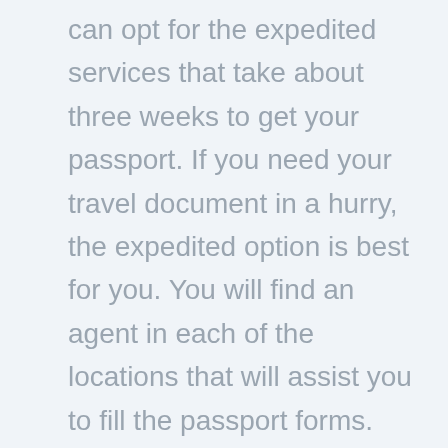can opt for the expedited services that take about three weeks to get your passport. If you need your travel document in a hurry, the expedited option is best for you. You will find an agent in each of the locations that will assist you to fill the passport forms. Other services offered in these offices include passport renewal, issuance of new passport and lost passport replacement. Before visiting the location, make sure that you visit their site to be sure of their opening hours and the services provided.